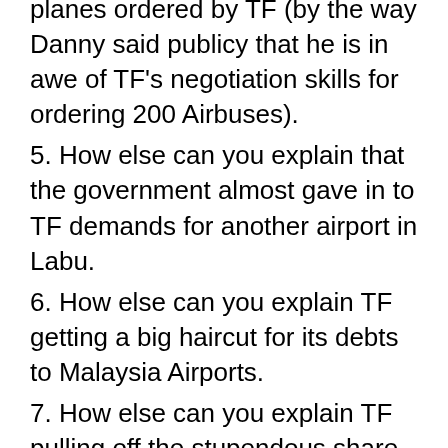planes ordered by TF (by the way Danny said publicy that he is in awe of TF's negotiation skills for ordering 200 Airbuses).
5. How else can you explain that the government almost gave in to TF demands for another airport in Labu.
6. How else can you explain TF getting a big haircut for its debts to Malaysia Airports.
7. How else can you explain TF pulling off the stupendous share swop with Khazanah which saw MAS being 20% controlled by a competitor, or rather 100% control since the other board members know nuts about the intricacies of running an airline. TF knows about LCC not full service airline.